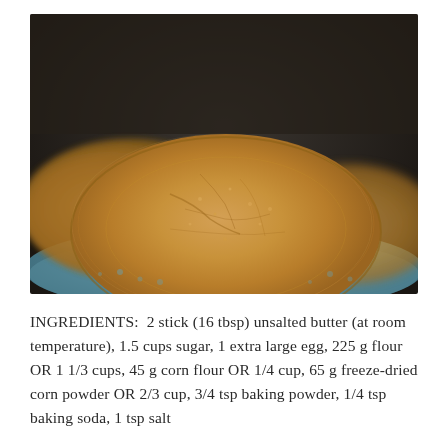[Figure (photo): Close-up photograph of golden-brown flat cookies on a blue ceramic plate, with a blurred dark background. The cookies appear crispy and textured.]
INGREDIENTS:  2 stick (16 tbsp) unsalted butter (at room temperature), 1.5 cups sugar, 1 extra large egg, 225 g flour OR 1 1/3 cups, 45 g corn flour OR 1/4 cup, 65 g freeze-dried corn powder OR 2/3 cup, 3/4 tsp baking powder, 1/4 tsp baking soda, 1 tsp salt